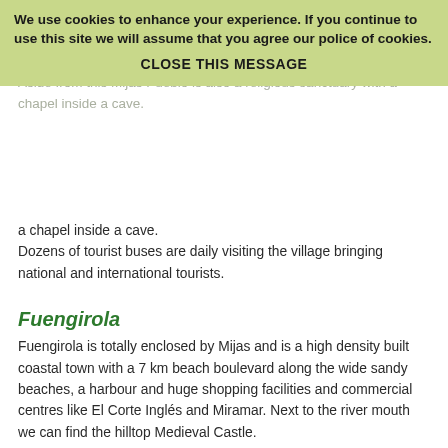We use cookies to enhance your experience. If you continue to use this site we will assume that you agree our police of cookies.
CLOSE THIS MESSAGE
Mijas Pueblo is a white washed village with cosy narrow streets and squares. Here you find many restaurants, tapas bars, monuments, museums and curiosities.
Aside from this Mijas Pueblo is also a religious sanctuary with a chapel inside a cave.
Dozens of tourist buses are daily visiting the village bringing national and international tourists.
Fuengirola
Fuengirola is totally enclosed by Mijas and is a high density built coastal town with a 7 km beach boulevard along the wide sandy beaches, a harbour and huge shopping facilities and commercial centres like El Corte Inglés and Miramar. Next to the river mouth we can find the hilltop Medieval Castle.
Mijas-Costa
Many golf urbanisations were developed and kept expanding during the last decades e.g. La Cala golf (El